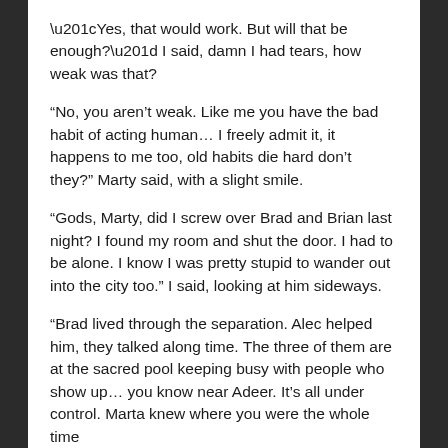“Yes, that would work. But will that be enough?” I said, damn I had tears, how weak was that?
“No, you aren’t weak. Like me you have the bad habit of acting human… I freely admit it, it happens to me too, old habits die hard don’t they?” Marty said, with a slight smile.
“Gods, Marty, did I screw over Brad and Brian last night? I found my room and shut the door. I had to be alone. I know I was pretty stupid to wander out into the city too.” I said, looking at him sideways.
“Brad lived through the separation. Alec helped him, they talked along time. The three of them are at the sacred pool keeping busy with people who show up… you know near Adeer. It’s all under control. Marta knew where you were the whole time